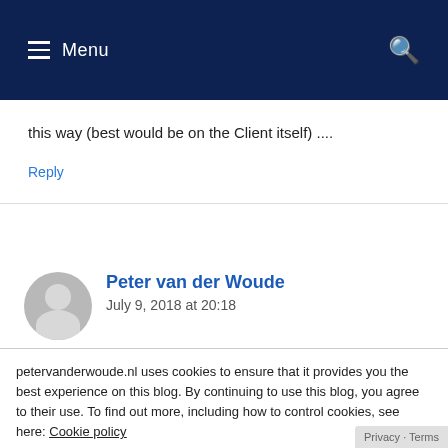≡ Menu
this way (best would be on the Client itself) ....
Reply
Peter van der Woude
July 9, 2018 at 20:18
petervanderwoude.nl uses cookies to ensure that it provides you the best experience on this blog. By continuing to use this blog, you agree to their use. To find out more, including how to control cookies, see here: Cookie policy
Close and accept
Reply
Privacy - Terms